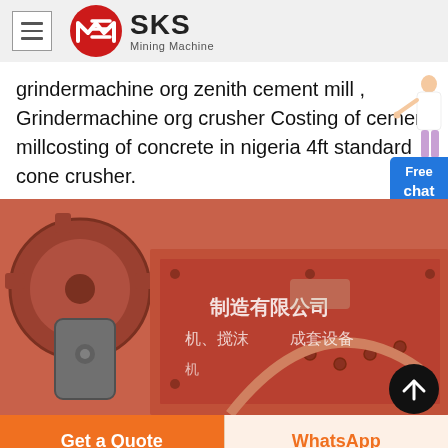SKS Mining Machine
grindermachine org zenith cement mill , Grindermachine org crusher Costing of cement millcosting of concrete in nigeria 4ft standard cone crusher.
[Figure (photo): Close-up photograph of industrial mining/crushing machine equipment, orange/red colored metal body with Chinese text markings including characters meaning manufacturing company and machinery]
Free chat
Get a Quote
WhatsApp